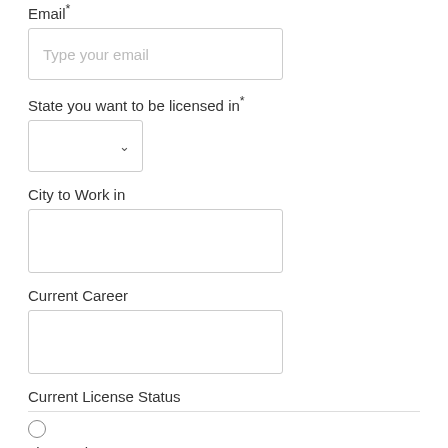Email *
Type your email
State you want to be licensed in *
City to Work in
Current Career
Current License Status
Licensed